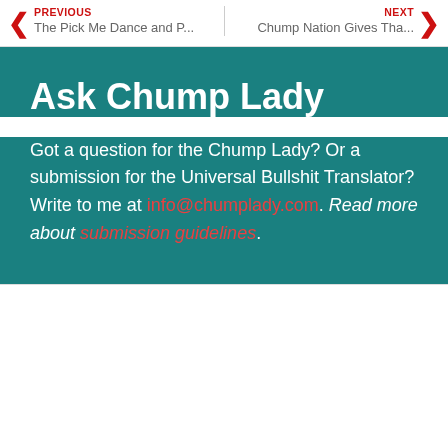PREVIOUS | The Pick Me Dance and P... | Chump Nation Gives Tha... | NEXT
Ask Chump Lady
Got a question for the Chump Lady? Or a submission for the Universal Bullshit Translator? Write to me at info@chumplady.com. Read more about submission guidelines.